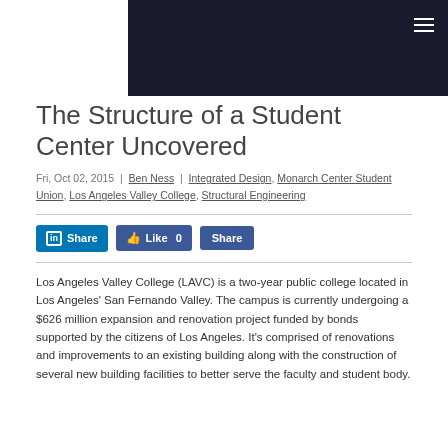[Figure (photo): Dark header banner with hamburger menu icon on the right side, white area on the left]
The Structure of a Student Center Uncovered
Fri, Oct 02, 2015  |  Ben Ness  |  Integrated Design, Monarch Center Student Union, Los Angeles Valley College, Structural Engineering
Los Angeles Valley College (LAVC) is a two-year public college located in Los Angeles' San Fernando Valley. The campus is currently undergoing a $626 million expansion and renovation project funded by bonds supported by the citizens of Los Angeles. It's comprised of renovations and improvements to an existing building along with the construction of several new building facilities to better serve the faculty and student body.